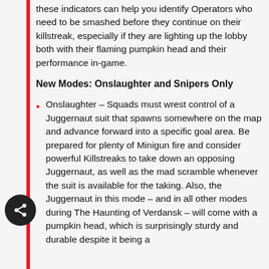these indicators can help you identify Operators who need to be smashed before they continue on their killstreak, especially if they are lighting up the lobby both with their flaming pumpkin head and their performance in-game.
New Modes: Onslaughter and Snipers Only
Onslaughter – Squads must wrest control of a Juggernaut suit that spawns somewhere on the map and advance forward into a specific goal area. Be prepared for plenty of Minigun fire and consider powerful Killstreaks to take down an opposing Juggernaut, as well as the mad scramble whenever the suit is available for the taking. Also, the Juggernaut in this mode – and in all other modes during The Haunting of Verdansk – will come with a pumpkin head, which is surprisingly sturdy and durable despite it being a